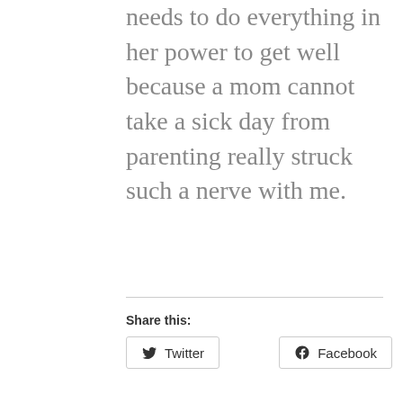needs to do everything in her power to get well because a mom cannot take a sick day from parenting really struck such a nerve with me.
Share this:
[Figure (other): Twitter share button with bird icon]
[Figure (other): Facebook share button with f icon]
[Figure (other): Like button with blue star icon]
Be the first to like this.
Related
10 Tips for Traveling with Lupus
SAHS (Stay-At-Home-Sick)